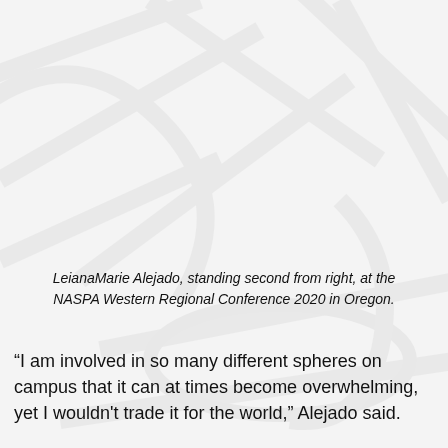[Figure (photo): Background decorative watermark-style abstract line pattern on a light gray background, suggesting the upper portion of the page contains a photograph (of LeianaMarie Alejado standing second from right at the NASPA Western Regional Conference 2020 in Oregon) rendered as a faded/watermark background.]
LeianaMarie Alejado, standing second from right, at the NASPA Western Regional Conference 2020 in Oregon.
“I am involved in so many different spheres on campus that it can at times become overwhelming, yet I wouldn't trade it for the world,” Alejado said.